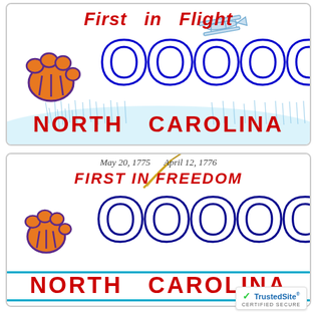[Figure (illustration): North Carolina 'First in Flight' license plate with Clemson tiger paw logo, Wright Brothers biplane, grass/dunes background, blue letters OOOOC, red text NORTH CAROLINA]
[Figure (illustration): North Carolina 'First in Freedom' license plate with Clemson tiger paw logo, quill pen graphic, dates May 20 1775 and April 12 1776, blue letters OOOOC, red text NORTH CAROLINA, light blue horizontal stripes at bottom]
[Figure (logo): TrustedSite CERTIFIED SECURE badge with green checkmark]